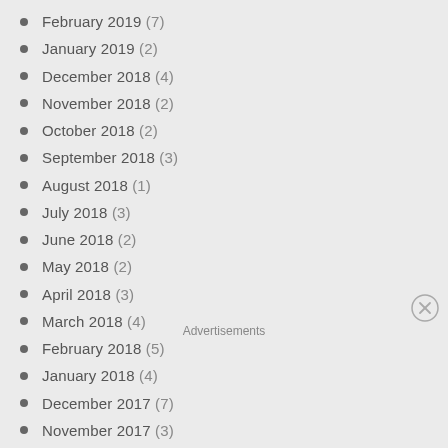February 2019 (7)
January 2019 (2)
December 2018 (4)
November 2018 (2)
October 2018 (2)
September 2018 (3)
August 2018 (1)
July 2018 (3)
June 2018 (2)
May 2018 (2)
April 2018 (3)
March 2018 (4)
February 2018 (5)
January 2018 (4)
December 2017 (7)
November 2017 (3)
October 2017 (6)
September 2017 (2)
Advertisements